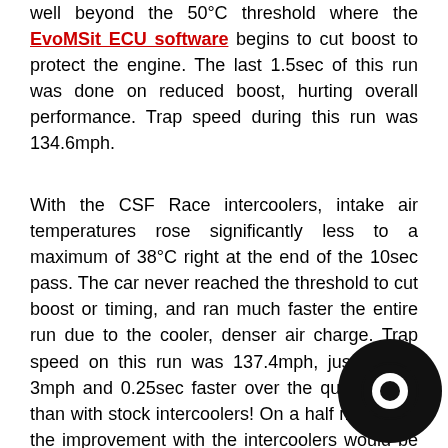well beyond the 50°C threshold where the EvoMSit ECU software begins to cut boost to protect the engine. The last 1.5sec of this run was done on reduced boost, hurting overall performance. Trap speed during this run was 134.6mph.
With the CSF Race intercoolers, intake air temperatures rose significantly less to a maximum of 38°C right at the end of the 10sec pass. The car never reached the threshold to cut boost or timing, and ran much faster the entire run due to the cooler, denser air charge. Trap speed on this run was 137.4mph, just shy of 3mph and 0.25sec faster over the quarter mile than with stock intercoolers! On a half mile race, the improvement with the intercoolers would be far greater at around 7-8mph on a typical Stage 2 car, and is one of the single greatest keys to achieving extraordinary performance a modified 991 Turbo is capable of!
[Figure (logo): Black circular logo/watermark in bottom-right corner]